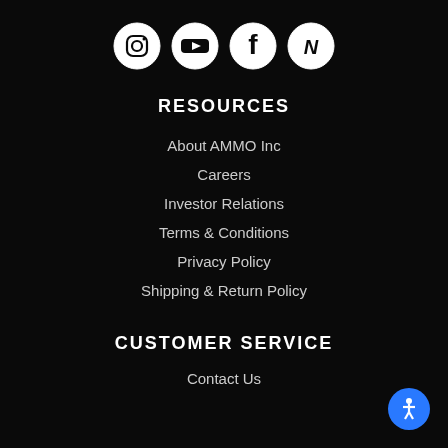[Figure (illustration): Four social media icons in white circles on black background: Instagram, YouTube, Facebook, and NV/Norma brand logo]
RESOURCES
About AMMO Inc
Careers
Investor Relations
Terms & Conditions
Privacy Policy
Shipping & Return Policy
CUSTOMER SERVICE
Contact Us
[Figure (illustration): Blue circular accessibility button with person icon in bottom right corner]